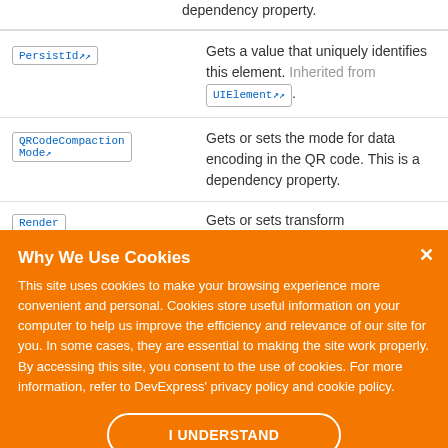dependency property.
| Property | Description |
| --- | --- |
| PersistId↗ | Gets a value that uniquely identifies this element. Inherited from UIElement↗. |
| QRCodeCompactionMode↗ | Gets or sets the mode for data encoding in the QR code. This is a dependency property. |
Why We Use Cookies
This site uses cookies to make your browsing experience more convenient and personal. Cookies store useful information on your computer to help us improve the efficiency and relevance of our site for you. In some cases, they are essential to making the site work properly. By accessing this site, you consent to the use of cookies. For more information, refer to DevExpress' privacy policy and cookie policy.
I UNDERSTAND
Render
Gets or sets transform